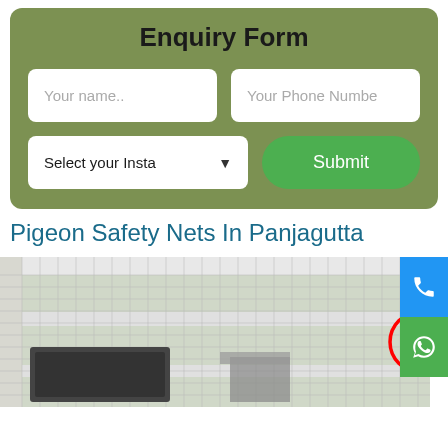Enquiry Form
[Figure (screenshot): Enquiry form with name input, phone number input, installation type dropdown, and Submit button on olive green background]
Pigeon Safety Nets In Panjagutta
[Figure (photo): Photo of pigeon safety net installed on balcony/AC unit area with a pigeon circled in red trying to get through the net]